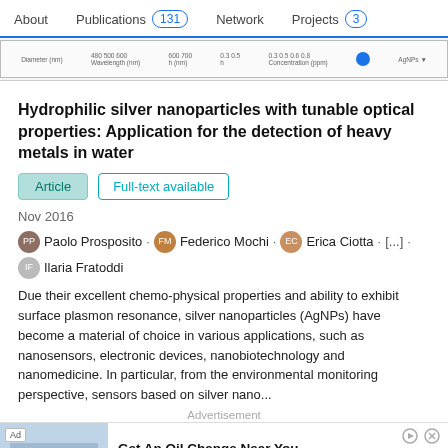About   Publications 131   Network   Projects 3
[Figure (screenshot): Thumbnail preview of a scientific chart/graph showing axes with labels including Diameter (nm), Wavelength (nm), and other measurement labels. Small scientific data visualization.]
Hydrophilic silver nanoparticles with tunable optical properties: Application for the detection of heavy metals in water
Article   Full-text available
Nov 2016
Paolo Prosposito · Federico Mochi · Erica Ciotta · [...] · Ilaria Fratoddi
Due their excellent chemo-physical properties and ability to exhibit surface plasmon resonance, silver nanoparticles (AgNPs) have become a material of choice in various applications, such as nanosensors, electronic devices, nanobiotechnology and nanomedicine. In particular, from the environmental monitoring perspective, sensors based on silver nano...
Advertisement
[Figure (screenshot): Advertisement banner: Get An Oil Change Near You - Firestone. Learn More.]